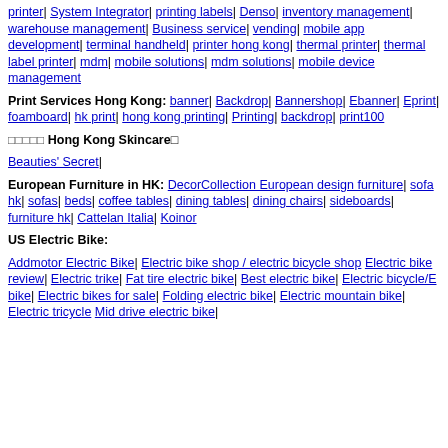printer| System Integrator| printing labels| Denso| inventory management| warehouse management| Business service| vending| mobile app development| terminal handheld| printer hong kong| thermal printer| thermal label printer| mdm| mobile solutions| mdm solutions| mobile device management
Print Services Hong Kong: banner| Backdrop| Bannershop| Ebanner| Eprint| foamboard| hk print| hong kong printing| Printing| backdrop| print100
□□□□□ Hong Kong Skincare□
Beauties' Secret|
European Furniture in HK: DecorCollection European design furniture| sofa hk| sofas| beds| coffee tables| dining tables| dining chairs| sideboards| furniture hk| Cattelan Italia| Koinor
US Electric Bike:
Addmotor Electric Bike| Electric bike shop / electric bicycle shop Electric bike review| Electric trike| Fat tire electric bike| Best electric bike| Electric bicycle/E bike| Electric bikes for sale| Folding electric bike| Electric mountain bike| Electric tricycle Mid drive electric bike|